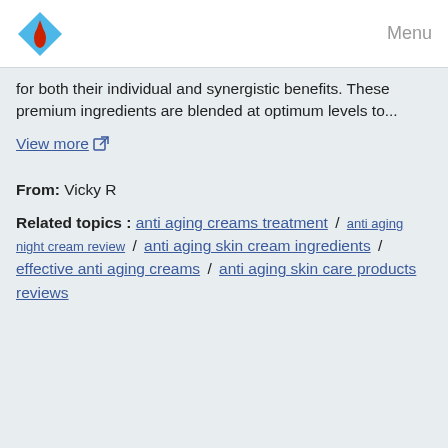Menu
for both their individual and synergistic benefits. These premium ingredients are blended at optimum levels to...
View more
From: Vicky R
Related topics : anti aging creams treatment / anti aging night cream review / anti aging skin cream ingredients / effective anti aging creams / anti aging skin care products reviews